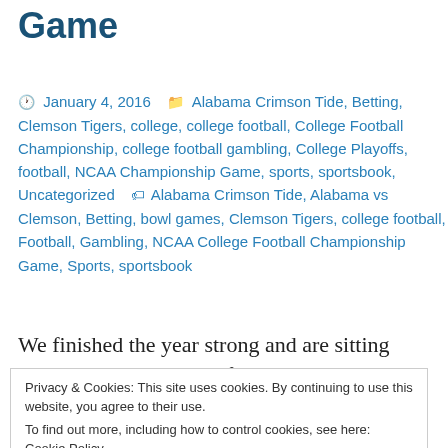Game
January 4, 2016   Alabama Crimson Tide, Betting, Clemson Tigers, college, college football, College Football Championship, college football gambling, College Playoffs, football, NCAA Championship Game, sports, sportsbook, Uncategorized   Alabama Crimson Tide, Alabama vs Clemson, Betting, bowl games, Clemson Tigers, college football, Football, Gambling, NCAA College Football Championship Game, Sports, sportsbook
We finished the year strong and are sitting healthy.  We've a year of perspective to draw
Privacy & Cookies: This site uses cookies. By continuing to use this website, you agree to their use.
To find out more, including how to control cookies, see here: Cookie Policy
However, sometimes the public is just flat out